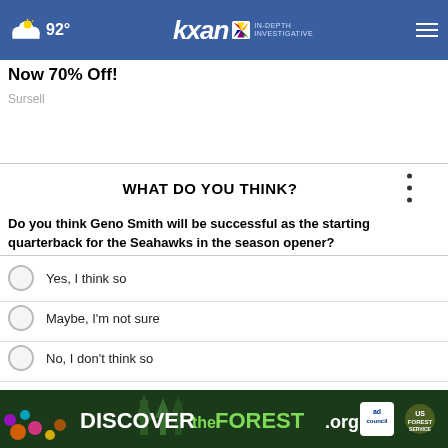92° kxan IN-DEPTH INVESTIGATIVE
Now 70% Off!
Sursell
WHAT DO YOU THINK?
Do you think Geno Smith will be successful as the starting quarterback for the Seahawks in the season opener?
Yes, I think so
Maybe, I'm not sure
No, I don't think so
Other / No opinion
[Figure (screenshot): DISCOVERtheFOREST.org advertisement banner with Ad Council and US Forest Service logos]